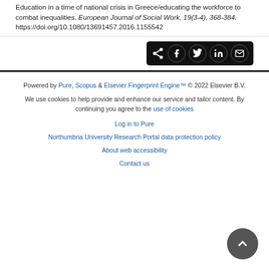Education in a time of national crisis in Greece/educating the workforce to combat inequalities. European Journal of Social Work, 19(3-4), 368-384. https://doi.org/10.1080/13691457.2016.1155542
[Figure (other): Share buttons row: share icon, Facebook, Twitter, LinkedIn, Email icons on dark background]
Powered by Pure, Scopus & Elsevier Fingerprint Engine™ © 2022 Elsevier B.V.
We use cookies to help provide and enhance our service and tailor content. By continuing you agree to the use of cookies
Log in to Pure
Northumbria University Research Portal data protection policy
About web accessibility
Contact us